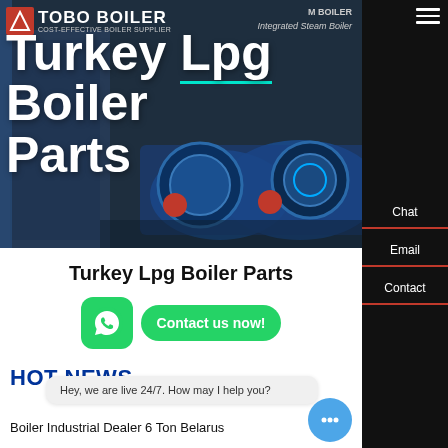[Figure (screenshot): Hero banner with industrial boiler machinery image showing large blue cylindrical boilers in a factory/warehouse setting]
Turkey Lpg Boiler Parts
TOBO BOILER — COST-EFFECTIVE BOILER SUPPLIER
Turkey Lpg Boiler Parts
Contact us now!
HOT NEWS
Hey, we are live 24/7. How may I help you?
Boiler Industrial Dealer 6 Ton Belarus